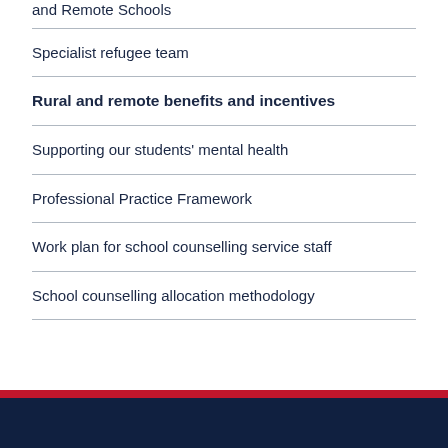and Remote Schools
Specialist refugee team
Rural and remote benefits and incentives
Supporting our students' mental health
Professional Practice Framework
Work plan for school counselling service staff
School counselling allocation methodology